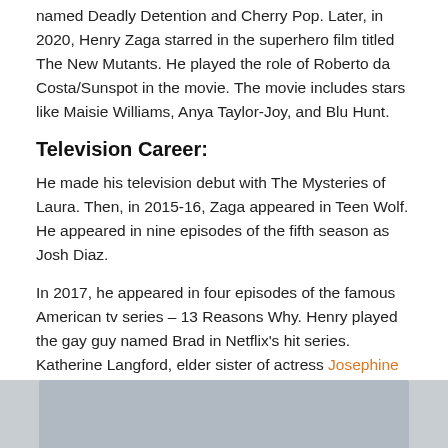named Deadly Detention and Cherry Pop. Later, in 2020, Henry Zaga starred in the superhero film titled The New Mutants. He played the role of Roberto da Costa/Sunspot in the movie. The movie includes stars like Maisie Williams, Anya Taylor-Joy, and Blu Hunt.
Television Career:
He made his television debut with The Mysteries of Laura. Then, in 2015-16, Zaga appeared in Teen Wolf. He appeared in nine episodes of the fifth season as Josh Diaz.
In 2017, he appeared in four episodes of the famous American tv series – 13 Reasons Why. Henry played the gay guy named Brad in Netflix's hit series. Katherine Langford, elder sister of actress Josephine Langford, and Dylan Minnette were in the lead role of the series.
[Figure (photo): Bottom portion of a photo showing a person, partially visible at the bottom of the page]